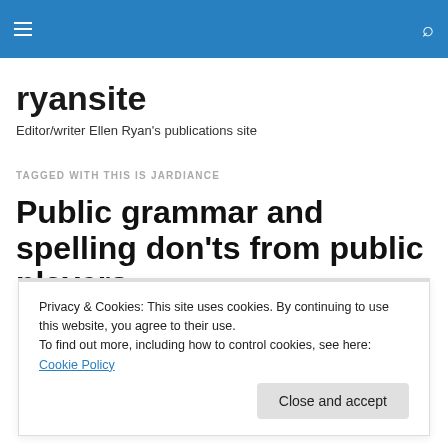ryansite — navigation header bar
ryansite
Editor/writer Ellen Ryan's publications site
TAGGED WITH THIS IS JARDIANCE
Public grammar and spelling don'ts from public players
Privacy & Cookies: This site uses cookies. By continuing to use this website, you agree to their use.
To find out more, including how to control cookies, see here: Cookie Policy